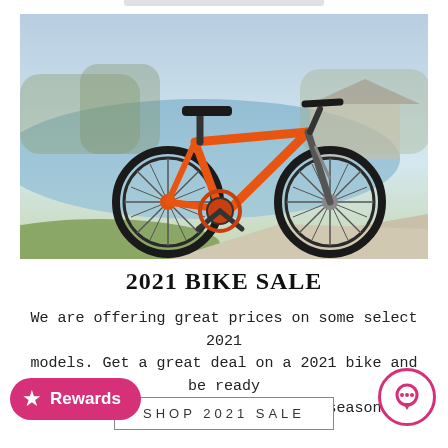[Figure (photo): An orange hybrid/fitness bicycle parked on a paved path beside a calm lake with trees and a house in the blurred background. Warm afternoon light.]
2021 BIKE SALE
We are offering great prices on some select 2021 models. Get a great deal on a 2021 bike and be ready ride for the new season.
SHOP 2021 SALE